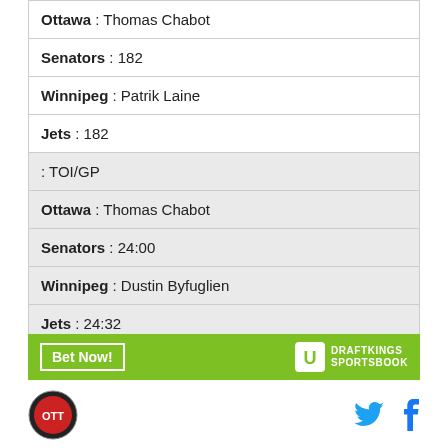| Ottawa : Thomas Chabot |
| Senators : 182 |
| Winnipeg : Patrik Laine |
| Jets : 182 |
| : TOI/GP |
| Ottawa : Thomas Chabot |
| Senators : 24:00 |
| Winnipeg : Dustin Byfuglien |
| Jets : 24:32 |
[Figure (infographic): DraftKings Sportsbook Bet Now banner advertisement in green]
[Figure (logo): Sports team circular logo on the left, Twitter and Facebook social media icons on the right]